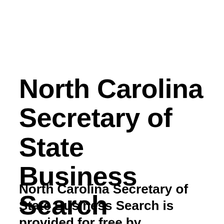North Carolina Secretary of State Business Search
North Carolina Secretary of State Business Search is provided for free by